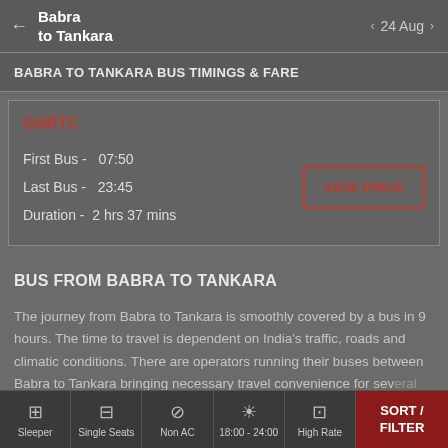Babra to Tankara  ← → 24 Aug
BABRA TO TANKARA BUS TIMINGS & FARE
GSRTC
First Bus - 07:50
Last Bus - 23:45
Duration - 2 hrs 37 mins
VIEW PRICE
BUS FROM BABRA TO TANKARA
The journey from Babra to Tankara is smoothly covered by a bus in 9 hours. The time to travel is dependent on India's traffic, roads and climatic conditions. There are operators running their buses between Babra to Tankara bringing necessary travel convenience for several people
Sleeper  Single Seats  Non AC  18:00 - 24:00  High Rate  SORT / FILTER